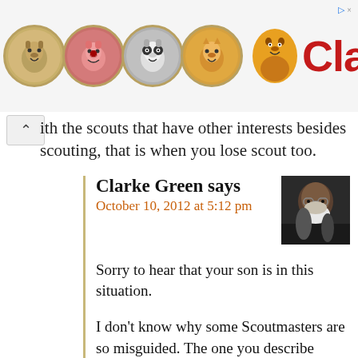[Figure (screenshot): ClassB advertisement banner with scouting-themed badge icons and ClassB logo]
ith the scouts that have other interests besides scouting, that is when you lose scout too.
Clarke Green says
October 10, 2012 at 5:12 pm
[Figure (photo): Avatar photo of Clarke Green, an older bald man with a white beard and glasses]
Sorry to hear that your son is in this situation.
I don't know why some Scoutmasters are so misguided. The one you describe really has no business being in that position.
Your son can go to a different troop where he'd be welcomed and valued rather than marginalized like this. It's not as big a deal as